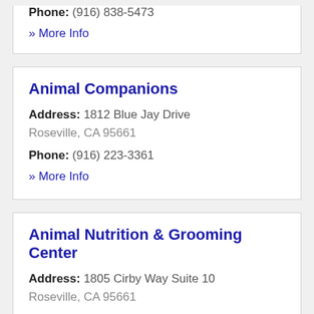Phone: (916) 838-5473
» More Info
Animal Companions
Address: 1812 Blue Jay Drive Roseville, CA 95661
Phone: (916) 223-3361
» More Info
Animal Nutrition & Grooming Center
Address: 1805 Cirby Way Suite 10 Roseville, CA 95661
Phone: (916) 782-7300
» More Info